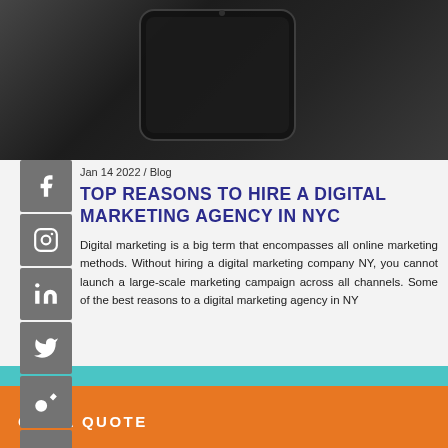[Figure (photo): Dark background with a smartphone lying face-down on a dark surface]
Jan 14 2022 / Blog
TOP REASONS TO HIRE A DIGITAL MARKETING AGENCY IN NYC
Digital marketing is a big term that encompasses all online marketing methods. Without hiring a digital marketing company NY, you cannot launch a large-scale marketing campaign across all channels. Some of the best reasons to a digital marketing agency in NY
GET A QUOTE